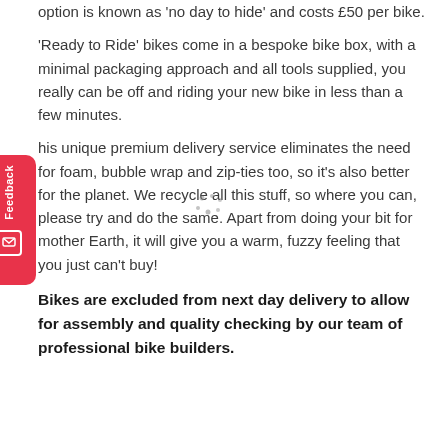option is known as 'no day to hide' and costs £50 per bike.
'Ready to Ride' bikes come in a bespoke bike box, with a minimal packaging approach and all tools supplied, you really can be off and riding your new bike in less than a few minutes.
This unique premium delivery service eliminates the need for foam, bubble wrap and zip-ties too, so it's also better for the planet. We recycle all this stuff, so where you can, please try and do the same. Apart from doing your bit for mother Earth, it will give you a warm, fuzzy feeling that you just can't buy!
Bikes are excluded from next day delivery to allow for assembly and quality checking by our team of professional bike builders.